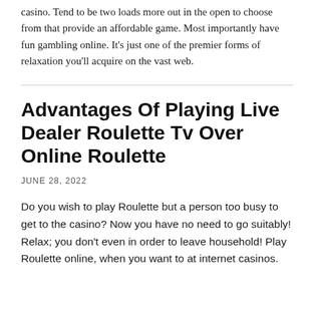casino. Tend to be two loads more out in the open to choose from that provide an affordable game. Most importantly have fun gambling online. It’s just one of the premier forms of relaxation you’ll acquire on the vast web.
Advantages Of Playing Live Dealer Roulette Tv Over Online Roulette
JUNE 28, 2022
Do you wish to play Roulette but a person too busy to get to the casino? Now you have no need to go suitably! Relax; you don’t even in order to leave household! Play Roulette online, when you want to at internet casinos.